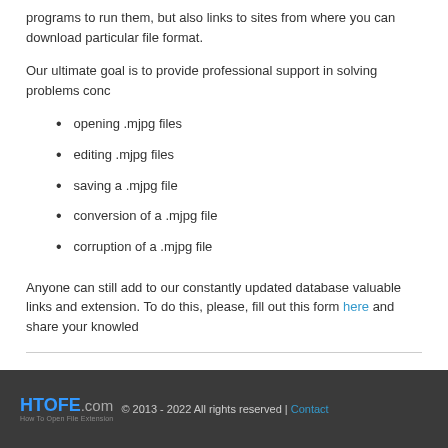programs to run them, but also links to sites from where you can download particular file format.
Our ultimate goal is to provide professional support in solving problems conc
opening .mjpg files
editing .mjpg files
saving a .mjpg file
conversion of a .mjpg file
corruption of a .mjpg file
Anyone can still add to our constantly updated database valuable links and extension. To do this, please, fill out this form here and share your knowled
© 2013 - 2022 All rights reserved | Contact